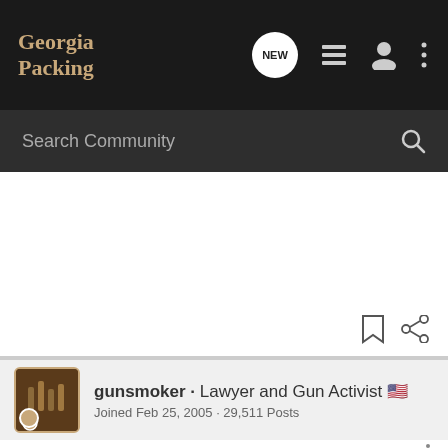Georgia Packing
Search Community
[Figure (screenshot): User avatar for gunsmoker showing stylized image]
gunsmoker · Lawyer and Gun Activist 🇺🇸
Joined Feb 25, 2005 · 29,511 Posts
#11 · Oct 18, 2010
You can use people who are not U.S. citizens, for bad things that they did here personally. When they choose to visit the United States and the State of Georgia, they are subjecting themselves to the jurisdiciton of our courts and our legal